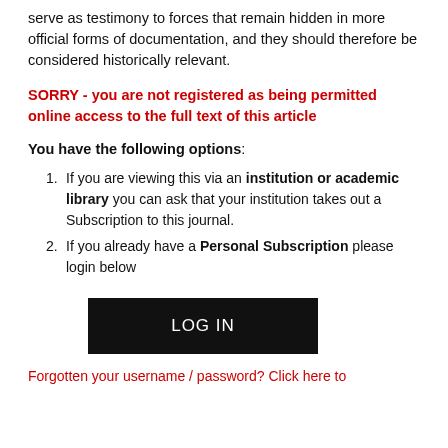serve as testimony to forces that remain hidden in more official forms of documentation, and they should therefore be considered historically relevant.
SORRY - you are not registered as being permitted online access to the full text of this article
You have the following options:
If you are viewing this via an institution or academic library you can ask that your institution takes out a Subscription to this journal.
If you already have a Personal Subscription please login below
[Figure (other): LOG IN button (black rectangle with white text)]
Forgotten your username / password? Click here to